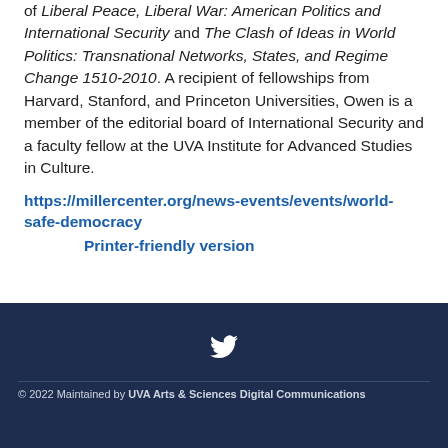of Liberal Peace, Liberal War: American Politics and International Security and The Clash of Ideas in World Politics: Transnational Networks, States, and Regime Change 1510-2010. A recipient of fellowships from Harvard, Stanford, and Princeton Universities, Owen is a member of the editorial board of International Security and a faculty fellow at the UVA Institute for Advanced Studies in Culture.
https://millercenter.org/news-events/events/world-safe-democracy
Printer-friendly version
© 2022 Maintained by UVA Arts & Sciences Digital Communications